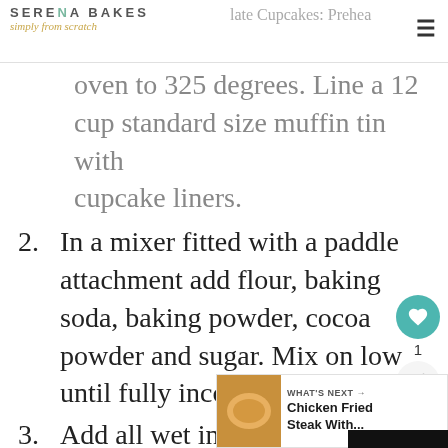Serena Bakes Simply From Scratch — Chocolate Cupcakes: Preheat oven to 325 degrees. Line a 12
cup standard size muffin tin with cupcake liners.
2. In a mixer fitted with a paddle attachment add flour, baking soda, baking powder, cocoa powder and sugar. Mix on low until fully incorporated.
3. Add all wet ingredients to ingredients and mix on medium